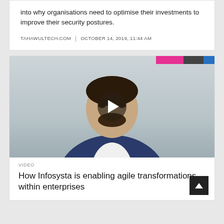into why organisations need to optimise their investments to improve their security postures.
TAHAWULTECH.COM | OCTOBER 14, 2019, 11:44 AM
[Figure (photo): Video thumbnail showing a man in a dark suit jacket with a play button overlay, and a colorful banner at the top right.]
VIDEO
How Infosysta is enabling agile transformations within enterprises